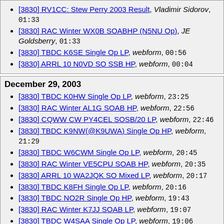[3830] RV1CC: Stew Perry 2003 Result, Vladimir Sidorov, 01:33
[3830] RAC Winter WX0B SOABHP (N5NU Op), JE Goldsberry, 01:33
[3830] TBDC K6SE Single Op LP, webform, 00:56
[3830] ARRL 10 N0VD SO SSB HP, webform, 00:04
December 29, 2003
[3830] TBDC K0HW Single Op LP, webform, 23:25
[3830] RAC Winter AL1G SOAB HP, webform, 22:56
[3830] CQWW CW PY4CEL SOSB/20 LP, webform, 22:46
[3830] TBDC K9NW(@K9UWA) Single Op HP, webform, 21:29
[3830] TBDC W6CWM Single Op LP, webform, 20:45
[3830] RAC Winter VE5CPU SOAB HP, webform, 20:35
[3830] ARRL 10 WA2JQK SO Mixed LP, webform, 20:17
[3830] TBDC K8FH Single Op LP, webform, 20:16
[3830] TBDC NO2R Single Op HP, webform, 19:43
[3830] RAC Winter K7JJ SOAB LP, webform, 19:07
[3830] TBDC W4SAA Single Op LP, webform, 19:06
[3830] TBDC N8EA Single Op HP, webform, 17:50
[3830] RAC Winter VE3MGY SOSB/160 LP, webform, 17:44